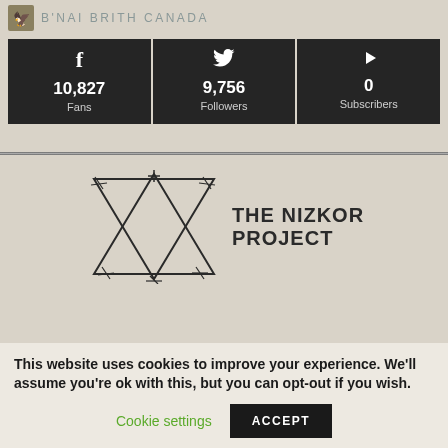B'NAI BRITH CANADA
[Figure (infographic): Social media stats panel showing Facebook (10,827 Fans), Twitter (9,756 Followers), and YouTube (0 Subscribers) on dark background tiles]
[Figure (logo): The Nizkor Project logo with Star of David outline and text THE NIZKOR PROJECT]
This website uses cookies to improve your experience. We'll assume you're ok with this, but you can opt-out if you wish.
Cookie settings | ACCEPT